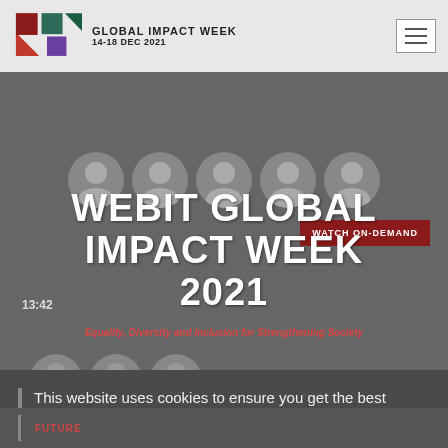GLOBAL IMPACT WEEK 14-18 DEC 2021
[Figure (screenshot): Webit Global Impact Week 2021 website screenshot showing event header, speaker avatars, a session about Equality Diversity and Inclusion, and a cookie consent overlay. The overlay contains text: 'This website uses cookies to ensure you get the best experience on our website. Learn more about our privacy policy' and a 'Got it!' button.]
WEBIT GLOBAL IMPACT WEEK
2021
This website uses cookies to ensure you get the best experience on our website. Learn more about our privacy policy
Got it!
Future